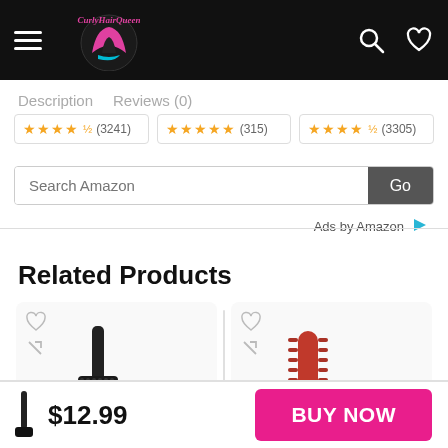[Figure (logo): CurlyHairQueen website header with hamburger menu, pink cursive logo, search and heart icons on black background]
Description   Reviews (0)
[Figure (other): Three rating boxes with gold star ratings: (3241), (315), (3305)]
[Figure (screenshot): Amazon search bar with text input 'Search Amazon' and a grey 'Go' button, followed by 'Ads by Amazon' text]
Related Products
[Figure (other): Two product cards partially visible: left card shows a black hair brush, right card shows a red round brush, each with heart and expand icons]
$12.99
BUY NOW